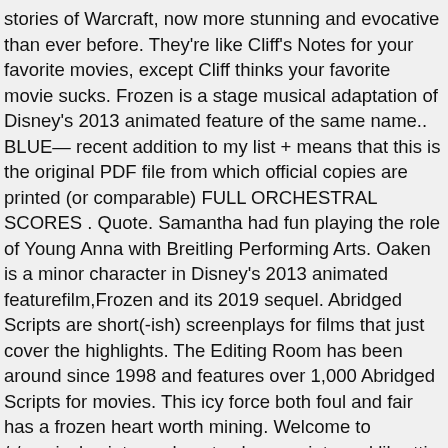stories of Warcraft, now more stunning and evocative than ever before. They're like Cliff's Notes for your favorite movies, except Cliff thinks your favorite movie sucks. Frozen is a stage musical adaptation of Disney's 2013 animated feature of the same name.. BLUE— recent addition to my list + means that this is the original PDF file from which official copies are printed (or comparable) FULL ORCHESTRAL SCORES . Quote. Samantha had fun playing the role of Young Anna with Breitling Performing Arts. Oaken is a minor character in Disney's 2013 animated featurefilm,Frozen and its 2019 sequel. Abridged Scripts are short(-ish) screenplays for films that just cover the highlights. The Editing Room has been around since 1998 and features over 1,000 Abridged Scripts for movies. This icy force both foul and fair has a frozen heart worth mining. Welcome to /r/musicalscripts, a place to share scripts and libretti for musicals. He nods respectfully to the king. Newer Topic Older Topic. Do you want to build a snowman? Seeking actors ages 18 and under in "Frozen Jr," a musical workshop. This script published under Creative Commons. THIS Abridged... This document was created by ch...